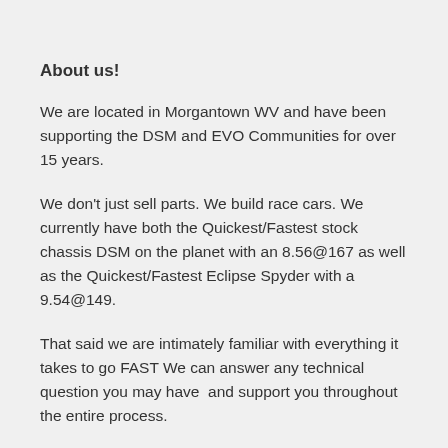About us!
We are located in Morgantown WV and have been supporting the DSM and EVO Communities for over 15 years.
We don't just sell parts. We build race cars. We currently have both the Quickest/Fastest stock chassis DSM on the planet with an 8.56@167 as well as the Quickest/Fastest Eclipse Spyder with a 9.54@149.
That said we are intimately familiar with everything it takes to go FAST We can answer any technical question you may have  and support you throughout the entire process.
We also provide more advanced services such as